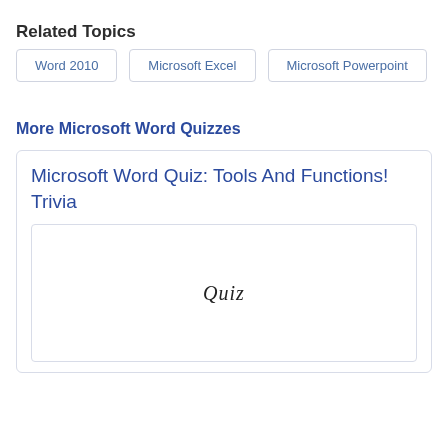Related Topics
Word 2010
Microsoft Excel
Microsoft Powerpoint
More Microsoft Word Quizzes
Microsoft Word Quiz: Tools And Functions! Trivia
[Figure (illustration): A white box with a handwritten-style 'Quiz' text label in the center.]